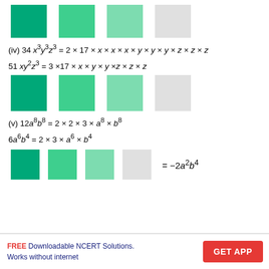[Figure (illustration): Row of four colored squares: dark green, medium green, light green, light gray (top row)]
[Figure (illustration): Row of four colored squares: dark green, medium green, light green, light gray (middle row)]
[Figure (illustration): Row of four colored squares followed by = -2a²b⁴]
FREE Downloadable NCERT Solutions. Works without internet | GET APP